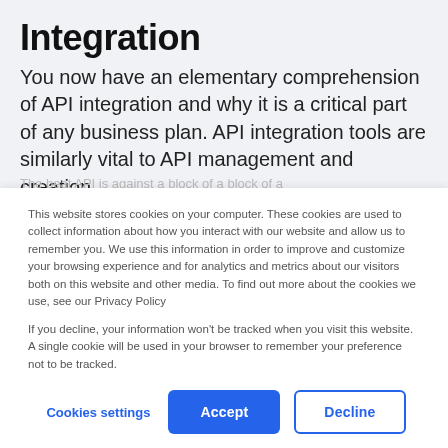Integration
You now have an elementary comprehension of API integration and why it is a critical part of any business plan. API integration tools are similarly vital to API management and creation.
This website stores cookies on your computer. These cookies are used to collect information about how you interact with our website and allow us to remember you. We use this information in order to improve and customize your browsing experience and for analytics and metrics about our visitors both on this website and other media. To find out more about the cookies we use, see our Privacy Policy
If you decline, your information won't be tracked when you visit this website. A single cookie will be used in your browser to remember your preference not to be tracked.